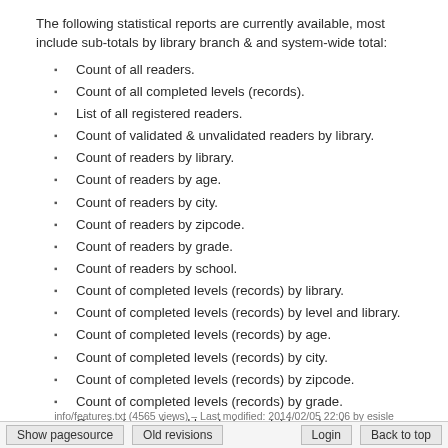The following statistical reports are currently available, most include sub-totals by library branch & and system-wide total:
Count of all readers.
Count of all completed levels (records).
List of all registered readers.
Count of validated & unvalidated readers by library.
Count of readers by library.
Count of readers by age.
Count of readers by city.
Count of readers by zipcode.
Count of readers by grade.
Count of readers by school.
Count of completed levels (records) by library.
Count of completed levels (records) by level and library.
Count of completed levels (records) by age.
Count of completed levels (records) by city.
Count of completed levels (records) by zipcode.
Count of completed levels (records) by grade.
Count of completed levels (records) by school.
For the status of additional reports, see the project status page.
info/features.txt (4565 views) – Last modified: 2014/02/05 22:06 by esisle
Show pagesource | Old revisions | Login | Back to top